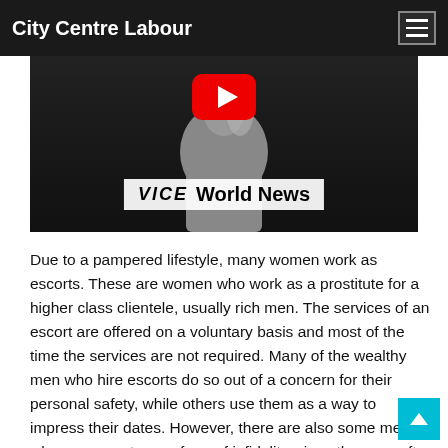City Centre Labour
[Figure (screenshot): Video thumbnail showing a person in a grey sweater against a dark background, with a YouTube play button icon at top center and a VICE World News logo banner overlaid at the bottom center.]
Due to a pampered lifestyle, many women work as escorts. These are women who work as a prostitute for a higher class clientele, usually rich men. The services of an escort are offered on a voluntary basis and most of the time the services are not required. Many of the wealthy men who hire escorts do so out of a concern for their personal safety, while others use them as a way to impress their dates. However, there are also some men who use escorts as a form of infidelity, since they can often find one woman to love them for life and then invite her over for the night.